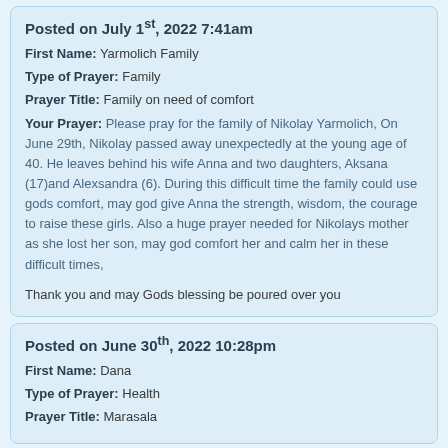Posted on July 1st, 2022 7:41am
First Name: Yarmolich Family
Type of Prayer: Family
Prayer Title: Family on need of comfort
Your Prayer: Please pray for the family of Nikolay Yarmolich, On June 29th, Nikolay passed away unexpectedly at the young age of 40. He leaves behind his wife Anna and two daughters, Aksana (17)and Alexsandra (6). During this difficult time the family could use gods comfort, may god give Anna the strength, wisdom, the courage to raise these girls. Also a huge prayer needed for Nikolays mother as she lost her son, may god comfort her and calm her in these difficult times,

Thank you and may Gods blessing be poured over you
Posted on June 30th, 2022 10:28pm
First Name: Dana
Type of Prayer: Health
Prayer Title: Marasala